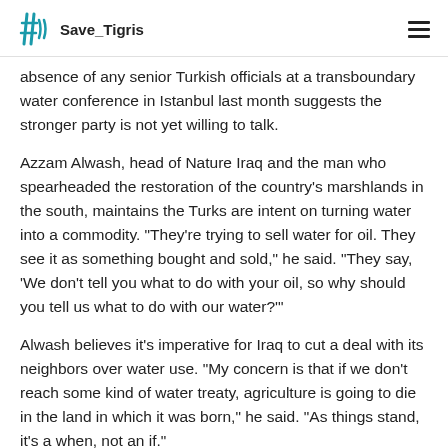Save_Tigris
absence of any senior Turkish officials at a transboundary water conference in Istanbul last month suggests the stronger party is not yet willing to talk.
Azzam Alwash, head of Nature Iraq and the man who spearheaded the restoration of the country’s marshlands in the south, maintains the Turks are intent on turning water into a commodity. “They’re trying to sell water for oil. They see it as something bought and sold,” he said. “They say, ‘We don’t tell you what to do with your oil, so why should you tell us what to do with our water?’”
Alwash believes it’s imperative for Iraq to cut a deal with its neighbors over water use. “My concern is that if we don’t reach some kind of water treaty, agriculture is going to die in the land in which it was born,” he said. “As things stand, it’s a when, not an if.”